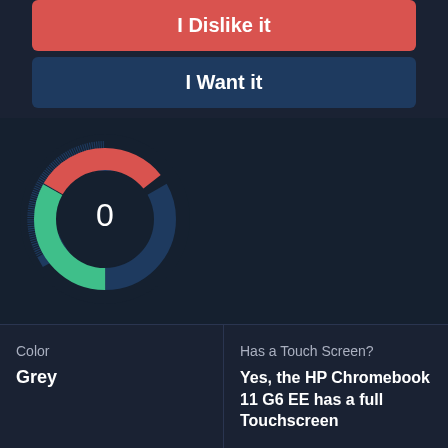I Dislike it
I Want it
[Figure (donut-chart): Donut chart showing 0 score with three colored segments: blue (top-left), teal/green (top-right), and red/coral (bottom). Center displays '0'.]
Color
Grey
Has a Touch Screen?
Yes, the HP Chromebook 11 G6 EE has a full Touchscreen
Has a SD Card Reader?
64-bit or 32-bit ?